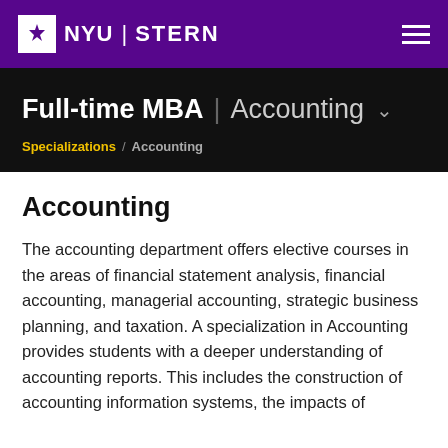NYU | STERN
Full-time MBA | Accounting
Specializations / Accounting
Accounting
The accounting department offers elective courses in the areas of financial statement analysis, financial accounting, managerial accounting, strategic business planning, and taxation. A specialization in Accounting provides students with a deeper understanding of accounting reports. This includes the construction of accounting information systems, the impacts of